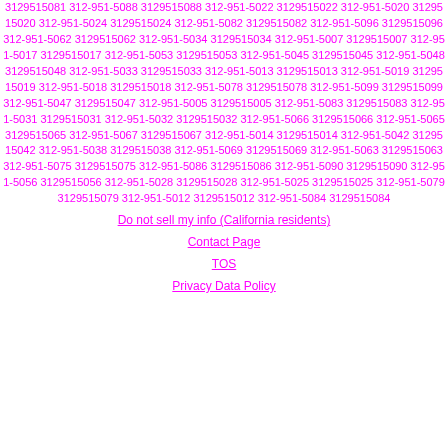3129515081 312-951-5088 3129515088 312-951-5022 3129515022 312-951-5020 3129515020 312-951-5024 3129515024 312-951-5082 3129515082 312-951-5096 3129515096 312-951-5062 3129515062 312-951-5034 3129515034 312-951-5007 3129515007 312-951-5017 3129515017 312-951-5053 3129515053 312-951-5045 3129515045 312-951-5048 3129515048 312-951-5033 3129515033 312-951-5013 3129515013 312-951-5019 3129515019 312-951-5018 3129515018 312-951-5078 3129515078 312-951-5099 3129515099 312-951-5047 3129515047 312-951-5005 3129515005 312-951-5083 3129515083 312-951-5031 3129515031 312-951-5032 3129515032 312-951-5066 3129515066 312-951-5065 3129515065 312-951-5067 3129515067 312-951-5014 3129515014 312-951-5042 3129515042 312-951-5038 3129515038 312-951-5069 3129515069 312-951-5063 3129515063 312-951-5075 3129515075 312-951-5086 3129515086 312-951-5090 3129515090 312-951-5056 3129515056 312-951-5028 3129515028 312-951-5025 3129515025 312-951-5079 3129515079 312-951-5012 3129515012 312-951-5084 3129515084
Do not sell my info (California residents)
Contact Page
TOS
Privacy Data Policy